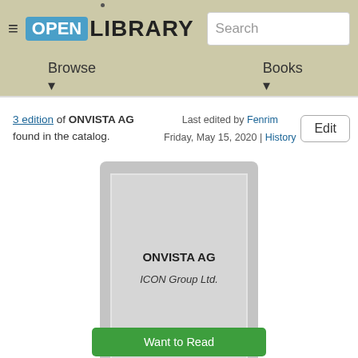Open Library — Browse | Books | Search
3 edition of ONVISTA AG found in the catalog.
Last edited by Fenrim
Friday, May 15, 2020 | History
Edit
[Figure (illustration): Book cover placeholder showing 'ONVISTA AG' title and 'ICON Group Ltd.' author on a gray background]
Want to Read